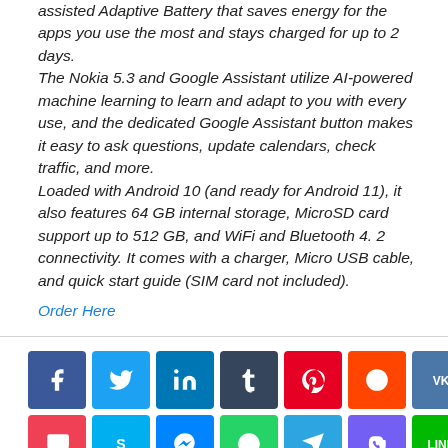assisted Adaptive Battery that saves energy for the apps you use the most and stays charged for up to 2 days. The Nokia 5.3 and Google Assistant utilize AI-powered machine learning to learn and adapt to you with every use, and the dedicated Google Assistant button makes it easy to ask questions, update calendars, check traffic, and more. Loaded with Android 10 (and ready for Android 11), it also features 64 GB internal storage, MicroSD card support up to 512 GB, and WiFi and Bluetooth 4. 2 connectivity. It comes with a charger, Micro USB cable, and quick start guide (SIM card not included).
Order Here
[Figure (other): Social media sharing buttons: Facebook, Twitter, LinkedIn, Tumblr, Pinterest, Reddit, VK, Odnoklassniki, Pocket, Skype, Messenger, WhatsApp, Telegram, Viber, Line, Email]